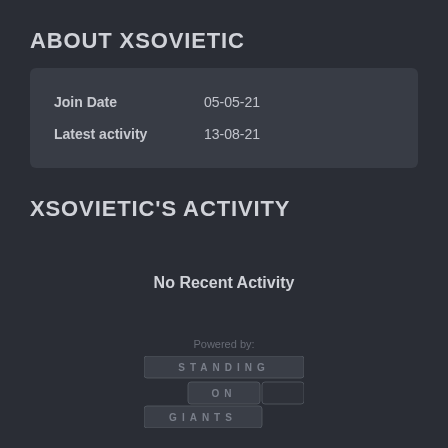ABOUT XSOVIETIC
| Join Date | 05-05-21 |
| Latest activity | 13-08-21 |
XSOVIETIC'S ACTIVITY
No Recent Activity
Powered by: STANDING ON GIANTS